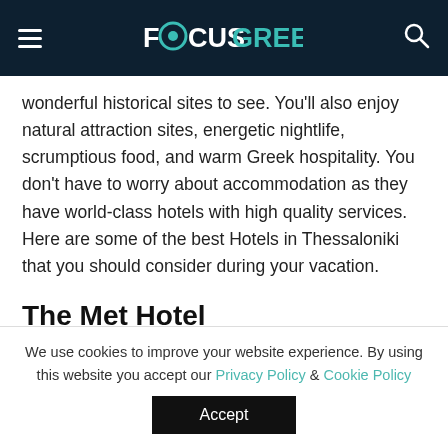FOCUSGREECE
wonderful historical sites to see. You'll also enjoy natural attraction sites, energetic nightlife, scrumptious food, and warm Greek hospitality. You don't have to worry about accommodation as they have world-class hotels with high quality services. Here are some of the best Hotels in Thessaloniki that you should consider during your vacation.
The Met Hotel
We use cookies to improve your website experience. By using this website you accept our Privacy Policy & Cookie Policy